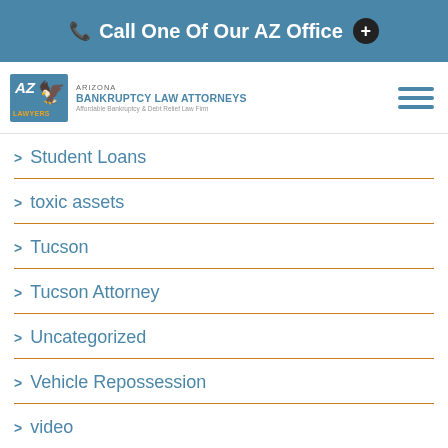Call One Of Our AZ Office
[Figure (logo): Arizona Bankruptcy Law Attorneys logo with AZ Lawyers badge and firm name]
Student Loans
toxic assets
Tucson
Tucson Attorney
Uncategorized
Vehicle Repossession
video